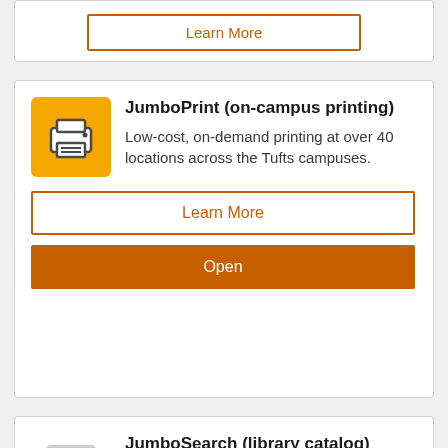[Figure (other): Partial card with Learn More button at top of page]
JumboPrint (on-campus printing)
Low-cost, on-demand printing at over 40 locations across the Tufts campuses.
Learn More
Open
JumboSearch (library catalog)
A one-stop search for Tufts library holdings, including